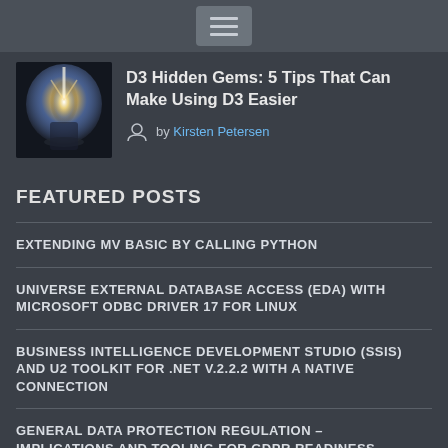Navigation menu toggle button
[Figure (photo): Thumbnail image with bright light beam on dark background]
D3 Hidden Gems: 5 Tips That Can Make Using D3 Easier
by Kirsten Petersen
FEATURED POSTS
EXTENDING MV BASIC BY CALLING PYTHON
UNIVERSE EXTERNAL DATABASE ACCESS (EDA) WITH MICROSOFT ODBC DRIVER 17 FOR LINUX
BUSINESS INTELLIGENCE DEVELOPMENT STUDIO (SSIS) AND U2 TOOLKIT FOR .NET V.2.2.2 WITH A NATIVE CONNECTION
GENERAL DATA PROTECTION REGULATION – IMPLICATIONS AND TOOLING FOR GDPR READINESS